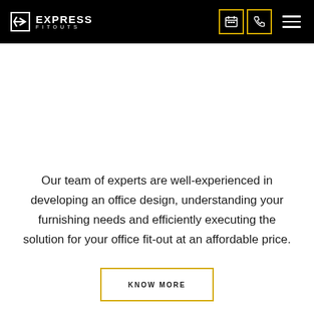EXPRESS FITOUTS — navigation bar with logo, calendar icon, phone icon, and menu icon
Our team of experts are well-experienced in developing an office design, understanding your furnishing needs and efficiently executing the solution for your office fit-out at an affordable price.
KNOW MORE